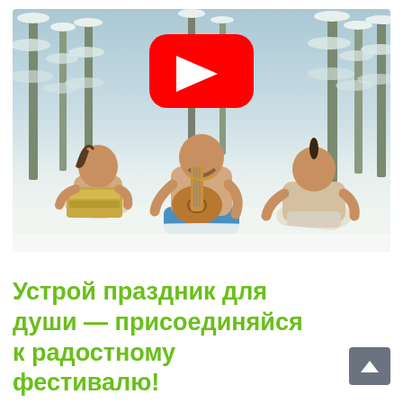[Figure (photo): Three shirtless men sitting in snow in a winter forest, playing musical instruments (harmonium, guitar) and singing. A large YouTube red play button overlay is centered near the top of the image.]
Устрой праздник для души — присоединяйся к радостному фестивалю!